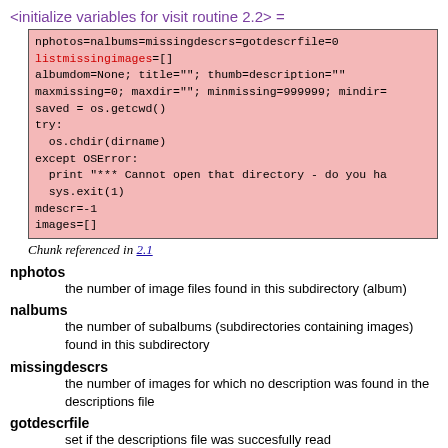<initialize variables for visit routine 2.2> =
[Figure (screenshot): Code block with pink background showing Python initialization code: nphotos=nalbums=missingdescrs=gotdescrfile=0, listmissingimages=[], albumdom=None; title=""; thumb=description="", maxmissing=0; maxdir=""; minmissing=999999; mindir=, saved = os.getcwd(), try:, os.chdir(dirname), except OSError:, print "*** Cannot open that directory - do you ha, sys.exit(1), mdescr=-1, images=[]]
Chunk referenced in 2.1
nphotos — the number of image files found in this subdirectory (album)
nalbums — the number of subalbums (subdirectories containing images) found in this subdirectory
missingdescrs — the number of images for which no description was found in the descriptions file
gotdescrfile — set if the descriptions file was succesfully read
listmissingimages